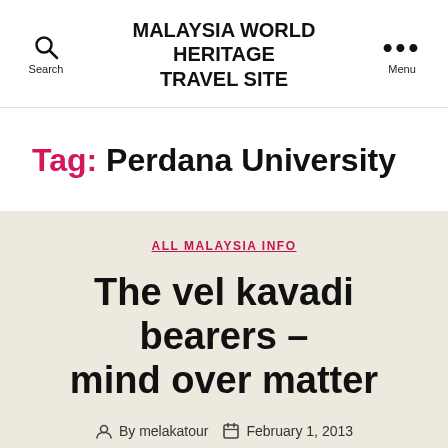MALAYSIA WORLD HERITAGE TRAVEL SITE
Tag: Perdana University
ALL MALAYSIA INFO
The vel kavadi bearers – mind over matter
By melakatour   February 1, 2013   No Comments